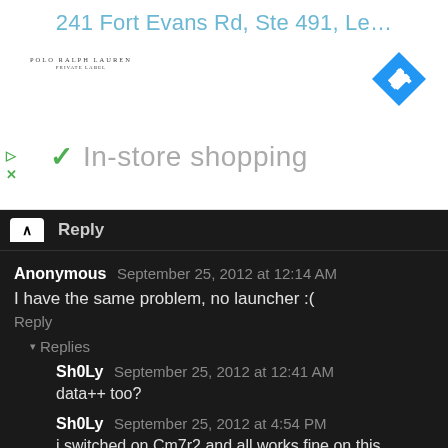241 Fort Evans Rd, Ste 491, Le…
[Figure (logo): Polo Ralph Lauren private label logo]
[Figure (other): Blue diamond-shaped navigation/directions icon with white arrow]
In-store shopping
Reply
Anonymous  September 25, 2012 at 12:14 AM
I have the same problem, no launcher :(
Reply
▾ Replies
Sh0Ly  September 25, 2012 at 12:41 AM
data++ too?
Sh0Ly  September 25, 2012 at 4:54 PM
i switched on Cm7r2 and all works fine on this,